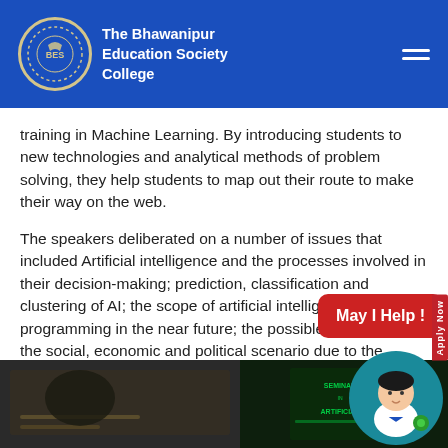The Bhawanipur Education Society College
training in Machine Learning. By introducing students to new technologies and analytical methods of problem solving, they help students to map out their route to make their way on the web.
The speakers deliberated on a number of issues that included Artificial intelligence and the processes involved in their decision-making; prediction, classification and clustering of AI; the scope of artificial intelligence and programming in the near future; the possible changes in the social, economic and political scenario due to the unabated emergence of artificial intelligence; and the over-dependence of human beings on technology with all the attendant threats.
[Figure (photo): Photo of seminar event, dark background with speaker or attendees]
[Figure (photo): Photo showing seminar presentation screen with text about Artificial Intelligence]